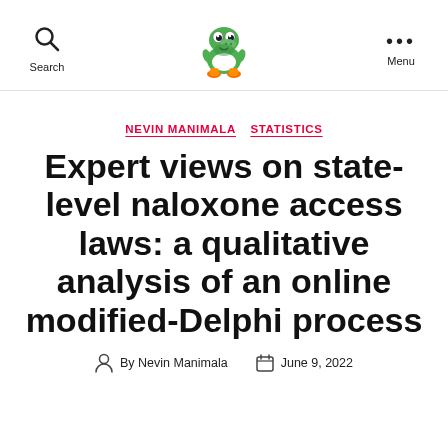Search | [Yoshi logo] | Menu
NEVIN MANIMALA  STATISTICS
Expert views on state-level naloxone access laws: a qualitative analysis of an online modified-Delphi process
By Nevin Manimala  June 9, 2022